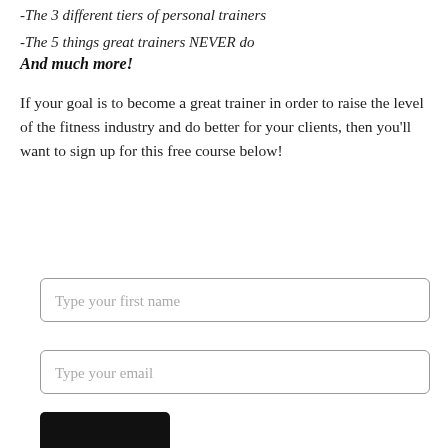-The 3 different tiers of personal trainers
-The 5 things great trainers NEVER do
And much more!
If your goal is to become a great trainer in order to raise the level of the fitness industry and do better for your clients, then you'll want to sign up for this free course below!
[Figure (other): Form with two input fields (Type your first name, Type your email) and a black submit button at the bottom]